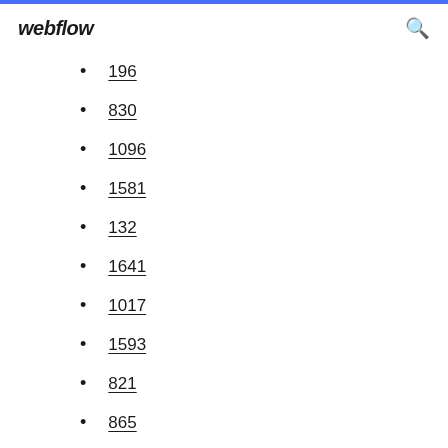webflow
196
830
1096
1581
132
1641
1017
1593
821
865
946
1467